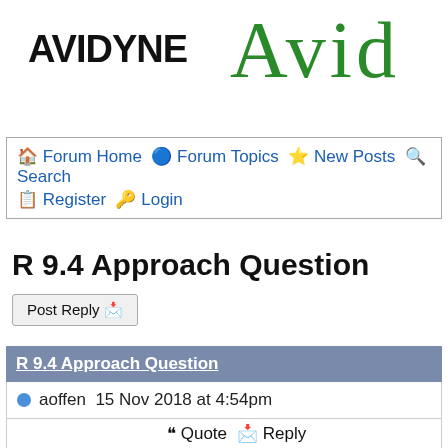[Figure (logo): Avidyne logo in black sans-serif bold text on left, and Avidyne logo in green serif italic on right (partially cropped)]
🏠 Forum Home 🔵 Forum Topics ⭐ New Posts 🔍 Search
📋 Register 🔑 Login
R 9.4 Approach Question
Post Reply 📩
R 9.4 Approach Question
🔵 aoffen 15 Nov 2018 at 4:54pm
❝ Quote 📩 Reply